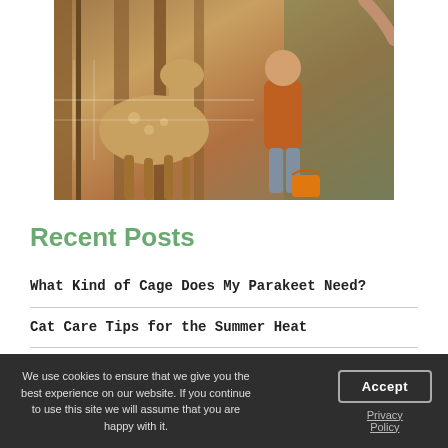[Figure (photo): Child in orange jacket feeding or interacting with a deer near a wooden fence, with a small orange bucket visible]
Recent Posts
What Kind of Cage Does My Parakeet Need?
Cat Care Tips for the Summer Heat
Does My Dog Have Lice?
We use cookies to ensure that we give you the best experience on our website. If you continue to use this site we will assume that you are happy with it.
Accept
Privacy Policy